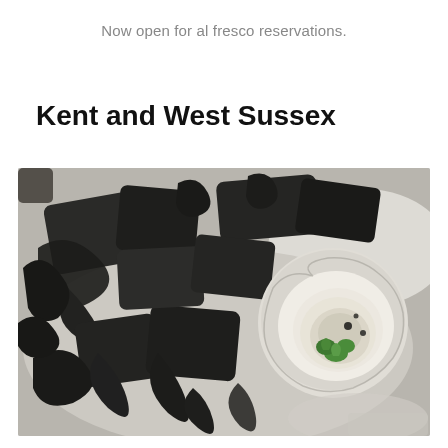Now open for al fresco reservations.
Kent and West Sussex
[Figure (photo): A white plate with a freshly shucked oyster in its shell garnished with green herb leaves and dark sauce droplets, surrounded by charcoal-black irregular pieces of food and dark seaweed fronds arranged artistically on a white dish.]